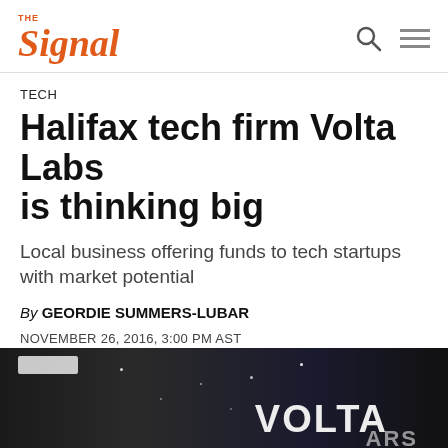THE Signal
TECH
Halifax tech firm Volta Labs is thinking big
Local business offering funds to tech startups with market potential
By GEORDIE SUMMERS-LUBAR
NOVEMBER 26, 2016, 3:00 PM AST
[Figure (other): Social share buttons: Facebook, Twitter, Reddit]
[Figure (photo): Photo of Volta Labs sign in dark space-themed background with 'VOLTA' text visible]